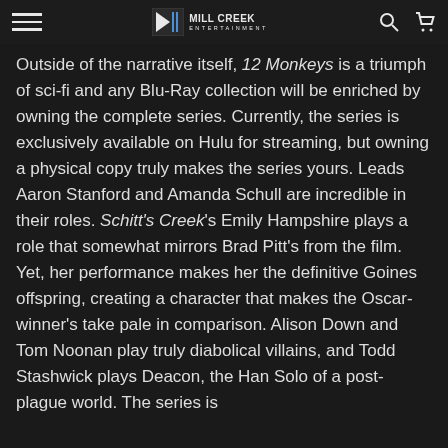Mill Creek Entertainment
Ray will be worth your time
Outside of the narrative itself, 12 Monkeys is a triumph of sci-fi and any Blu-Ray collection will be enriched by owning the complete series. Currently, the series is exclusively available on Hulu for streaming, but owning a physical copy truly makes the series yours. Leads Aaron Stanford and Amanda Schull are incredible in their roles. Schitt's Creek's Emily Hampshire plays a role that somewhat mirrors Brad Pitt's from the film. Yet, her performance makes her the definitive Goines offspring, creating a character that makes the Oscar-winner's take pale in comparison. Alison Down and Tom Noonan play truly diabolical villains, and Todd Stashwick plays Deacon, the Han Solo of a post-plague world. The series is